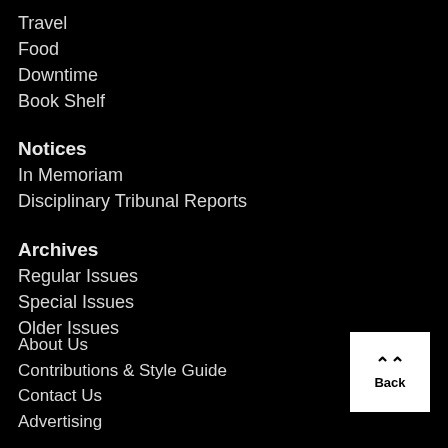Travel
Food
Downtime
Book Shelf
Notices
In Memoriam
Disciplinary Tribunal Reports
Archives
Regular Issues
Special Issues
Older Issues
About Us
Contributions & Style Guide
Contact Us
Advertising